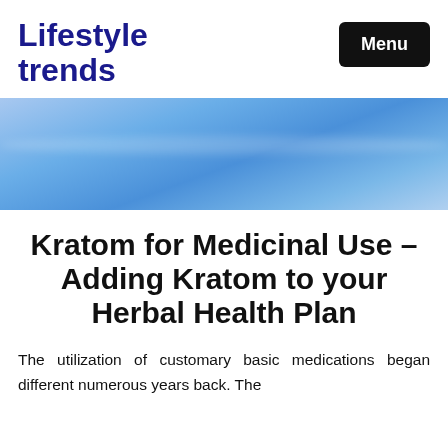Lifestyle trends
[Figure (photo): Blue sky with faint wispy clouds or contrails, used as a hero banner image]
Kratom for Medicinal Use – Adding Kratom to your Herbal Health Plan
The utilization of customary basic medications began different numerous years back. The